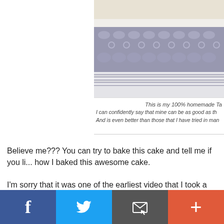[Figure (photo): Photo of a crocheted lace trim in gray/blue color on a white wooden surface, with what appears to be a cake visible at the top edge.]
This is my 100% homemade Ta... I can confidently say that mine can be as good as th... And is even better than those that I have tried in man...
Believe me??? You can try to bake this cake and tell me if you li... how I baked this awesome cake.
I'm sorry that it was one of the earliest video that I took a while a... recipe in my blog. Well, it's better late than never.
[Figure (photo): Partial photo of a cake or food item, dark background.]
[Figure (other): Social media share bar with Facebook, Twitter, Email, and Plus buttons.]